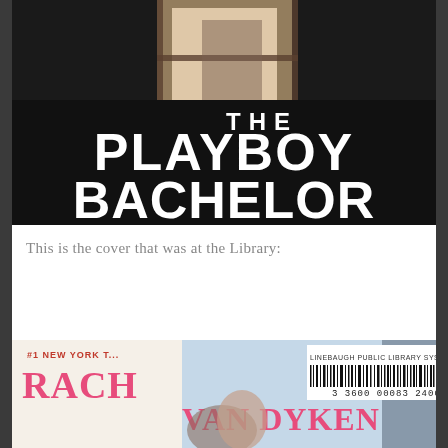[Figure (photo): Book cover of 'The Playboy Bachelor' showing a shirtless man standing near a window, with bold white text reading 'THE PLAYBOY BACHELOR' on a dark background.]
This is the cover that was at the Library:
[Figure (photo): Book cover of Rachel Van Dyken's book, with a library barcode sticker reading 'LINEBAUGH PUBLIC LIBRARY SYSTEM' and barcode '3 3600 00083 2400'. The cover shows a couple and the author name 'RACHEL VAN DYKEN' in pink text.]